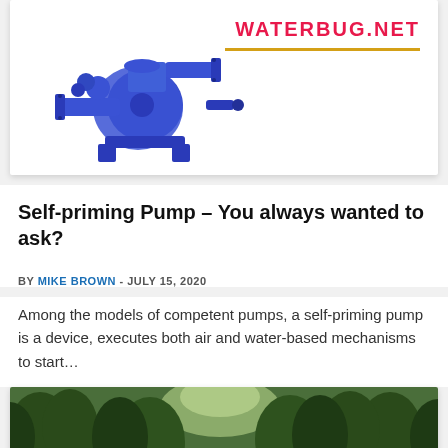[Figure (photo): Blue self-priming water pump on white background with WATERBUG.NET logo in red text and gold underline]
Self-priming Pump – You always wanted to ask?
BY MIKE BROWN - JULY 15, 2020
Among the models of competent pumps, a self-priming pump is a device, executes both air and water-based mechanisms to start…
[Figure (photo): Forest trees with green foliage, bottom portion of page]